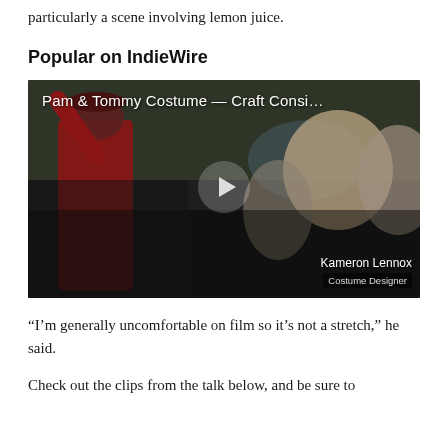particularly a scene involving lemon juice.
Popular on IndieWire
[Figure (screenshot): Video thumbnail showing a scene from 'Pam & Tommy Costume — Craft Consi...' with a person in a red coat and hat raising their arm, surrounded by a crowd. A play button is visible in the center. Credits show 'Kameron Lennox' as Costume Designer.]
“I’m generally uncomfortable on film so it’s not a stretch,” he said.
Check out the clips from the talk below, and be sure to